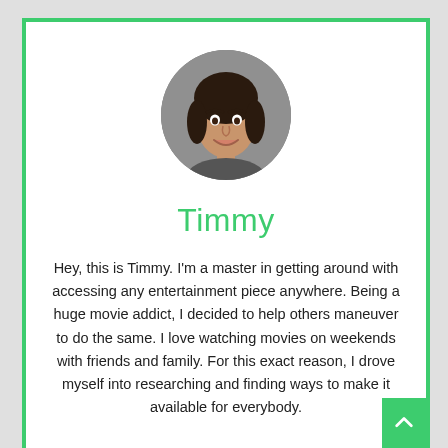[Figure (photo): Circular profile photo of a woman with dark hair, smiling, against a gray background]
Timmy
Hey, this is Timmy. I'm a master in getting around with accessing any entertainment piece anywhere. Being a huge movie addict, I decided to help others maneuver to do the same. I love watching movies on weekends with friends and family. For this exact reason, I drove myself into researching and finding ways to make it available for everybody.